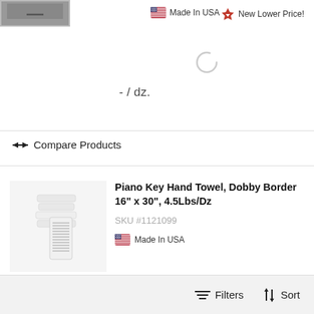[Figure (photo): Product thumbnail image at top left, partially visible]
Made In USA
New Lower Price!
[Figure (other): Loading spinner circle indicator]
- / dz.
Compare Products
[Figure (photo): Piano Key Hand Towel product photograph showing stacked white towels]
Piano Key Hand Towel, Dobby Border 16" x 30", 4.5Lbs/Dz
SKU #1121099
Made In USA
Filters   Sort